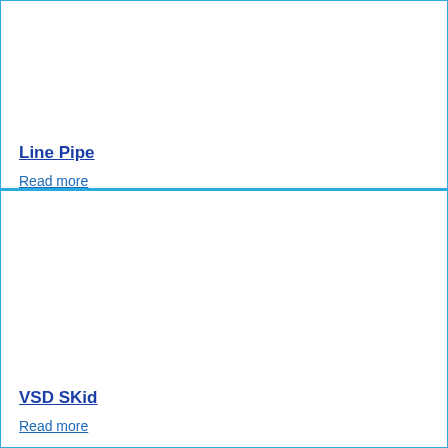Line Pipe
Read more
VSD SKid
Read more